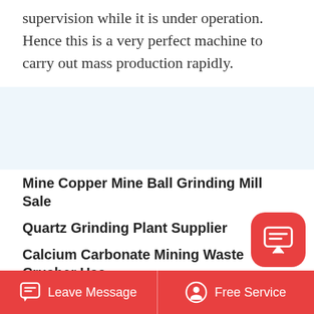supervision while it is under operation. Hence this is a very perfect machine to carry out mass production rapidly.
Mine Copper Mine Ball Grinding Mill Sale
Quartz Grinding Plant Supplier
Calcium Carbonate Mining Waste Crusher Usa
6000 7000 Rpm Makita Grinding Machine
Pulverizer Crushing Machine Manufacturers Sri Lanka
Junkmail Gauteng Mtw Grinding Mills
Leave Message   Free Service